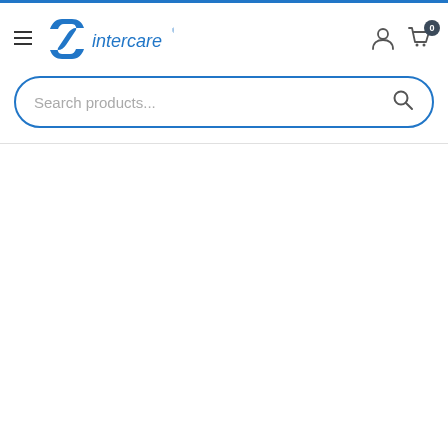intercare — navigation header with hamburger menu, logo, user icon, and cart (0 items)
Search products...